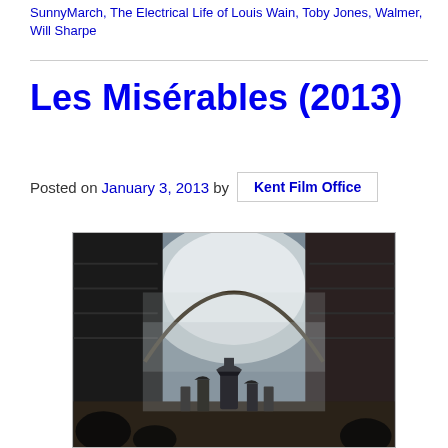SunnyMarch, The Electrical Life of Louis Wain, Toby Jones, Walmer, Will Sharpe
Les Misérables (2013)
Posted on January 3, 2013 by Kent Film Office
[Figure (photo): A film scene from Les Misérables showing period-costumed figures including soldiers in Napoleonic-era uniforms walking through a foggy archway/tunnel passage between tall stone buildings.]